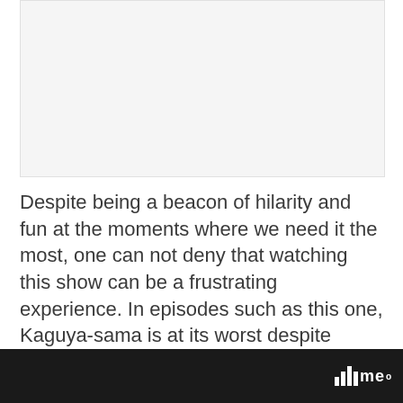[Figure (other): Image placeholder area at top of page]
Despite being a beacon of hilarity and fun at the moments where we need it the most, one can not deny that watching this show can be a frustrating experience. In episodes such as this one, Kaguya-sama is at its worst despite being fantastically produced and directed overall. These are the episodes where the viewer feels like they have be...
me°